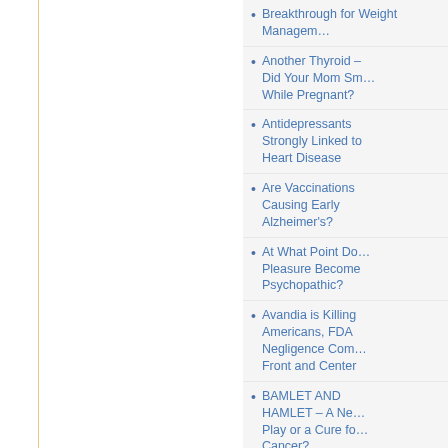Breakthrough for Weight Management
Another Thyroid – Did Your Mom Smoke While Pregnant?
Antidepressants Strongly Linked to Heart Disease
Are Vaccinations Causing Early Alzheimer's?
At What Point Does Pleasure Become Psychopathic?
Avandia is Killing Americans, FDA Negligence Comes Front and Center
BAMLET AND HAMLET – A New Play or a Cure for Cancer?
BDNF Prevents and Reverses Alzheimer Disease